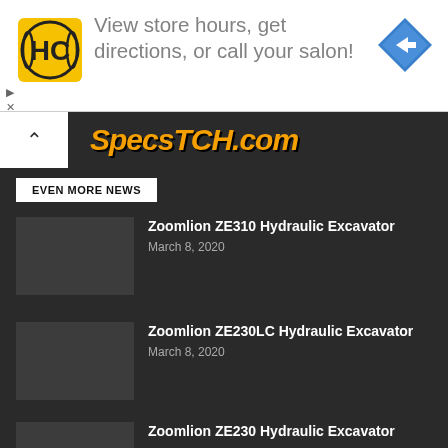[Figure (other): Advertisement banner: HC logo, text 'View store hours, get directions, or call your salon!', navigation arrow icon]
SpecsTCH.com
EVEN MORE NEWS
Zoomlion ZE310 Hydraulic Excavator
March 8, 2020
Zoomlion ZE230LC Hydraulic Excavator
March 8, 2020
Zoomlion ZE230 Hydraulic Excavator